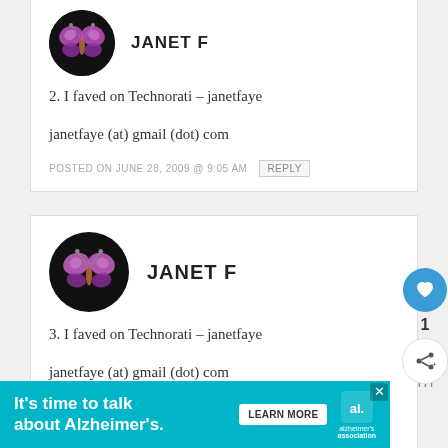[Figure (illustration): Circular avatar with butterfly illustration on dark background for user Janet F (top comment card)]
JANET F
2. I faved on Technorati – janetfaye

janetfaye (at) gmail (dot) com
POSTED ON JUNE 28, 2009 @ 9:05 AM   REPLY
[Figure (illustration): Circular avatar with butterfly illustration on dark background for user Janet F (second comment card)]
JANET F
3. I faved on Technorati – janetfaye

janetfaye (at) gmail (dot) com
POSTED ON JUNE 28, 2009 @ 9:05 AM   REPLY
[Figure (other): Like/heart button (blue circle with heart icon) and share button, with count 1]
[Figure (infographic): Advertisement banner: It's time to talk about Alzheimer's. LEARN MORE. Alzheimer's association logo.]